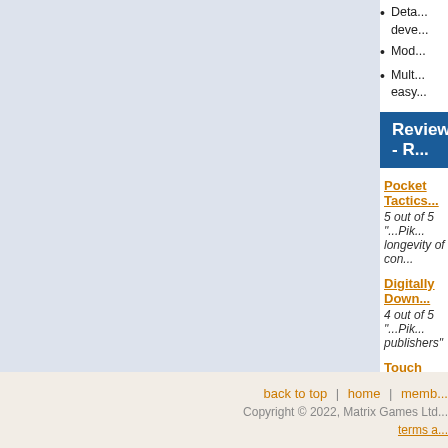[Figure (other): Light blue-grey rectangular panel filling the left portion of the main content area]
Deta... deve...
Mod...
Mult... easy...
Reviews - R...
Pocket Tactics...
5 out of 5 "...Pik... longevity of con...
Digitally Down...
4 out of 5 "...Pik... publishers"
Touch Arcade...
9 out of 10 "The...
Pocket Gamer...
8 out of 10 "...a...
back to top | home | memb... | Copyright © 2022, Matrix Games Ltd... | terms a...